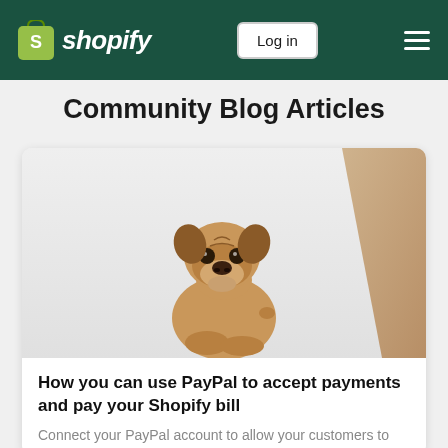shopify — Log in — menu
Community Blog Articles
[Figure (photo): A pug dog sitting and looking at the camera against a light grey background with a wooden board visible on the right side]
How you can use PayPal to accept payments and pay your Shopify bill
Connect your PayPal account to allow your customers to